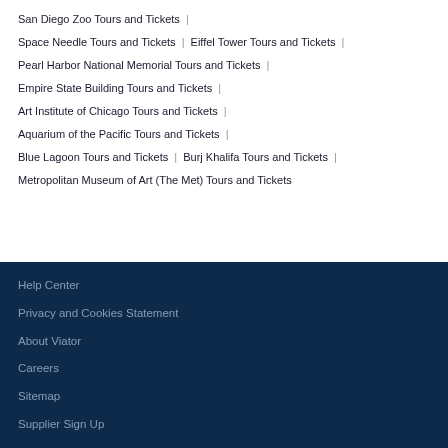San Diego Zoo Tours and Tickets |
Space Needle Tours and Tickets | Eiffel Tower Tours and Tickets |
Pearl Harbor National Memorial Tours and Tickets |
Empire State Building Tours and Tickets |
Art Institute of Chicago Tours and Tickets |
Aquarium of the Pacific Tours and Tickets |
Blue Lagoon Tours and Tickets | Burj Khalifa Tours and Tickets |
Metropolitan Museum of Art (The Met) Tours and Tickets
Help Center
Privacy and Cookies Statement
About Viator
Careers
Sitemap
Supplier Sign Up